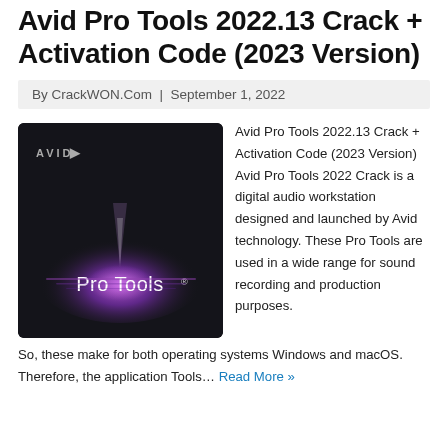Avid Pro Tools 2022.13 Crack + Activation Code (2023 Version)
By CrackWON.Com | September 1, 2022
[Figure (photo): Avid Pro Tools software box with purple/pink glow design on dark background, showing AVID logo and Pro Tools text]
Avid Pro Tools 2022.13 Crack + Activation Code (2023 Version) Avid Pro Tools 2022 Crack is a digital audio workstation designed and launched by Avid technology. These Pro Tools are used in a wide range for sound recording and production purposes. So, these make for both operating systems Windows and macOS. Therefore, the application Tools… Read More »